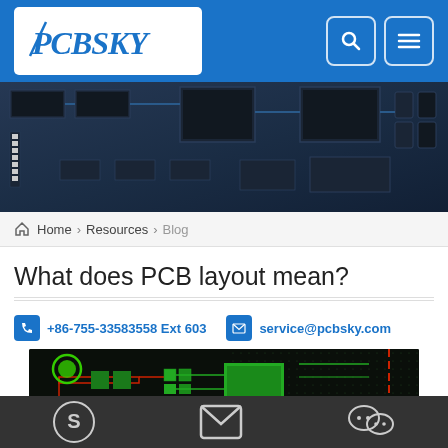PCBSKY
[Figure (photo): Aerial/close-up photo of a blue-tinted printed circuit board with various electronic components including ICs, capacitors, and connectors]
Home > Resources > Blog
What does PCB layout mean?
+86-755-33583558 Ext 603    service@pcbsky.com
[Figure (screenshot): PCB layout design software view showing green circuit traces and components on a dark background]